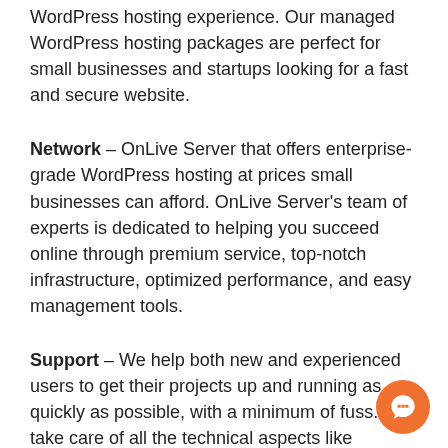WordPress hosting experience. Our managed WordPress hosting packages are perfect for small businesses and startups looking for a fast and secure website.
Network – OnLive Server that offers enterprise-grade WordPress hosting at prices small businesses can afford. OnLive Server's team of experts is dedicated to helping you succeed online through premium service, top-notch infrastructure, optimized performance, and easy management tools.
Support – We help both new and experienced users to get their projects up and running as quickly as possible, with a minimum of fuss. We take care of all the technical aspects like backups, updates, speed & performance optimization, and customer support so you can focus on what you do best.